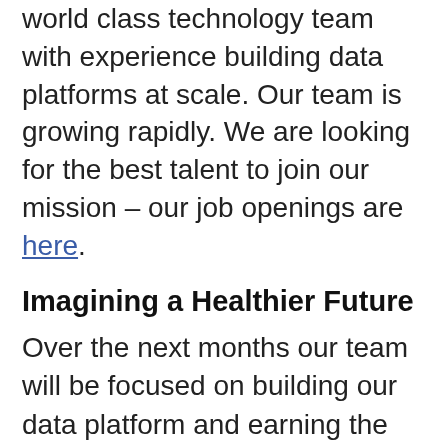world class technology team with experience building data platforms at scale. Our team is growing rapidly. We are looking for the best talent to join our mission – our job openings are here.
Imagining a Healthier Future
Over the next months our team will be focused on building our data platform and earning the appropriate security certifications. This year, we expect to begin delivering insights from the Truveta platform. This is what inspires me every day.
We'd be...